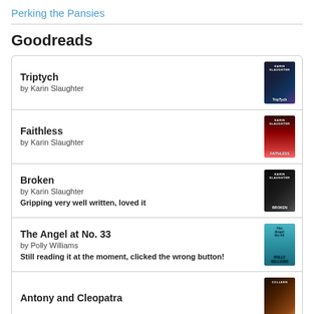Perking the Pansies
Goodreads
Triptych
by Karin Slaughter
Faithless
by Karin Slaughter
Broken
by Karin Slaughter
Gripping very well written, loved it
The Angel at No. 33
by Polly Williams
Still reading it at the moment, clicked the wrong button!
Antony and Cleopatra